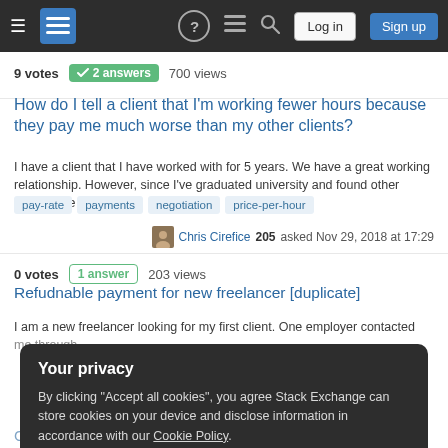Stack Exchange navigation bar with hamburger menu, logo, help, chat, search, Log in, Sign up
9 votes  ✓ 2 answers  700 views
How do I tell a client that I'm working fewer hours because they pay me much worse than my other clients?
I have a client that I have worked with for 5 years. We have a great working relationship. However, since I've graduated university and found other clients, I've…
pay-rate  payments  negotiation  price-per-hour
Chris Cirefice 205 asked Nov 29, 2018 at 17:29
0 votes  1 answer  203 views
Refudnable payment for new freelancer [duplicate]
I am a new freelancer looking for my first client. One employer contacted me through
Your privacy
By clicking "Accept all cookies", you agree Stack Exchange can store cookies on your device and disclose information in accordance with our Cookie Policy.
Accept all cookies  Customize settings
Client wants to find a payment scheme that works for us. He